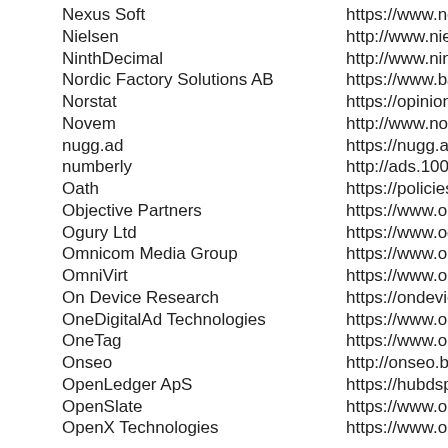Nexus Soft	https://www.nexus-soft.org/i
Nielsen	http://www.nielsen.com/us/en
NinthDecimal	http://www.ninthdecimal.com
Nordic Factory Solutions AB	https://www.bannerflow.com
Norstat	https://opinion-people.com/
Novem	http://www.novem.pl/doc/No
nugg.ad	https://nugg.ad/de/datensch
numberly	http://ads.1000mercis.com/u
Oath	https://policies.oath.com/xw/
Objective Partners	https://www.objectivepartner
Ogury Ltd	https://www.ogury.com/priva
Omnicom Media Group	https://www.omnicommediag
OmniVirt	https://www.omnivirt.com/tos
On Device Research	https://ondeviceresearch.cor
OneDigitalAd Technologies	https://www.onedigitalad.cor
OneTag	https://www.onetag.net/priva
Onseo	http://onseo.biz/privacy.html
OpenLedger ApS	https://hubdsp.com/privacy.h
OpenSlate	https://www.openslate.com/g
OpenX Technologies	https://www.openx.com/lega